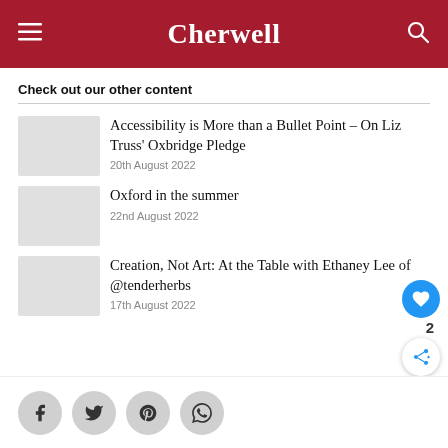Cherwell
Check out our other content
Accessibility is More than a Bullet Point – On Liz Truss' Oxbridge Pledge
20th August 2022
Oxford in the summer
22nd August 2022
Creation, Not Art: At the Table with Ethaney Lee of @tenderherbs
17th August 2022